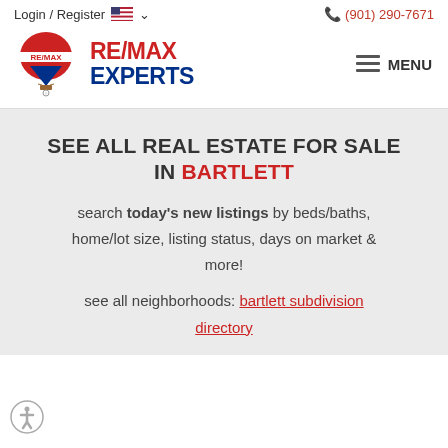Login / Register  (901) 290-7671
[Figure (logo): RE/MAX Experts logo with hot air balloon and red/blue text]
SEE ALL REAL ESTATE FOR SALE IN BARTLETT
search today's new listings by beds/baths, home/lot size, listing status, days on market & more!
see all neighborhoods: bartlett subdivision directory